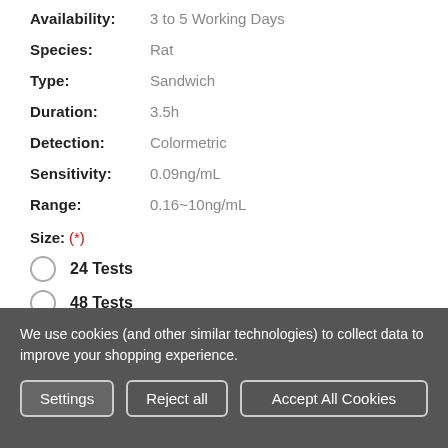Availability: 3 to 5 Working Days
Species: Rat
Type: Sandwich
Duration: 3.5h
Detection: Colormetric
Sensitivity: 0.09ng/mL
Range: 0.16~10ng/mL
Size: (*)
24 Tests
48 Tests
We use cookies (and other similar technologies) to collect data to improve your shopping experience.
Settings | Reject all | Accept All Cookies